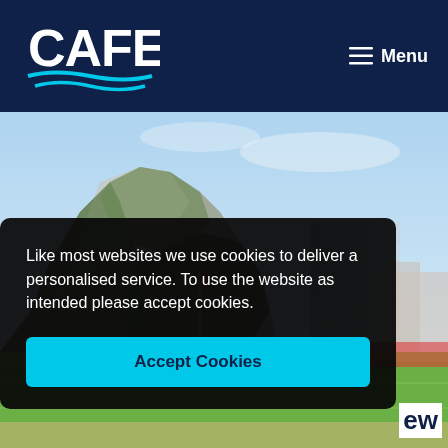[Figure (logo): CAFE logo in white text with blue wave lines underneath on dark navy background]
≡ Menu
[Figure (photo): Aerial photo of the Rock of Gibraltar with green vegetation and a glass building on the right, a football stadium visible at the bottom]
Like most websites we use cookies to deliver a personalised service. To use the website as intended please accept cookies.
Accept Cookies
ew